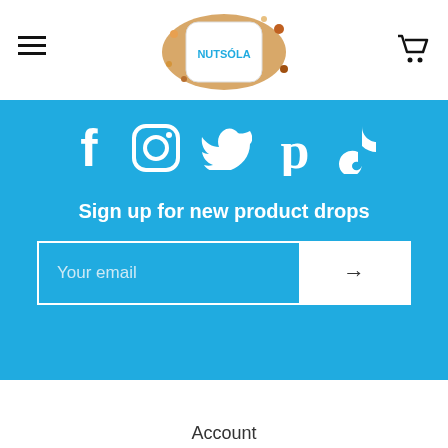[Figure (logo): Nutsola brand logo with nuts and seeds scattered around a white square with NUTSOLA text in blue]
[Figure (infographic): Social media icons row: Facebook, Instagram, Twitter, Pinterest, TikTok in white on blue background]
Sign up for new product drops
Your email
Account